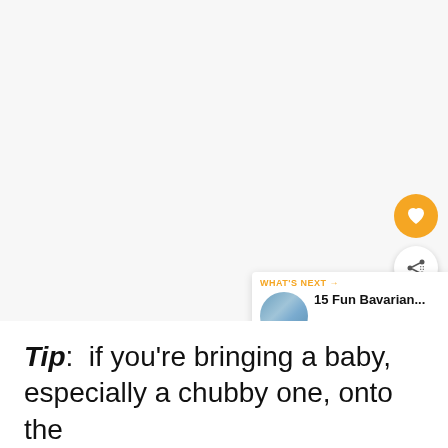[Figure (other): Large mostly blank/light gray area taking up the top portion of the page, representing an image placeholder or loaded image area]
[Figure (other): Orange circular FAB button with a heart/favorite icon]
[Figure (other): White circular FAB button with a share/add icon]
WHAT'S NEXT → 15 Fun Bavarian...
Tip:  if you're bringing a baby, especially a chubby one, onto the